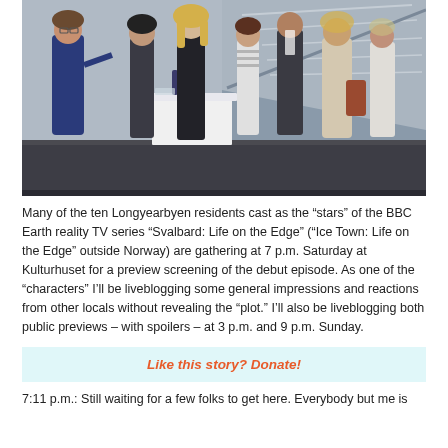[Figure (photo): Group of people gathered indoors near a staircase and a table with a white tablecloth, at what appears to be a social event or preview screening. A man on the left gestures while speaking to a group of women and another man.]
Many of the ten Longyearbyen residents cast as the “stars” of the BBC Earth reality TV series “Svalbard: Life on the Edge” (“Ice Town: Life on the Edge” outside Norway) are gathering at 7 p.m. Saturday at Kulturhuset for a preview screening of the debut episode. As one of the “characters” I’ll be liveblogging some general impressions and reactions from other locals without revealing the “plot.” I’ll also be liveblogging both public previews – with spoilers – at 3 p.m. and 9 p.m. Sunday.
Like this story? Donate!
7:11 p.m.: Still waiting for a few folks to get here. Everybody but me is